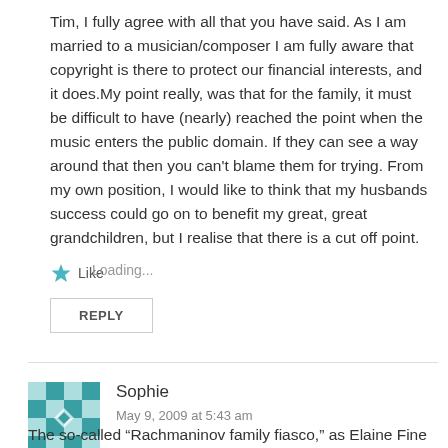Tim, I fully agree with all that you have said. As I am married to a musician/composer I am fully aware that copyright is there to protect our financial interests, and it does.My point really, was that for the family, it must be difficult to have (nearly) reached the point when the music enters the public domain. If they can see a way around that then you can't blame them for trying. From my own position, I would like to think that my husbands success could go on to benefit my great, great grandchildren, but I realise that there is a cut off point.
Like
Loading...
REPLY
Sophie
May 9, 2009 at 5:43 am
The so-called “Rachmaninov family fiasco,” as Elaine Fine